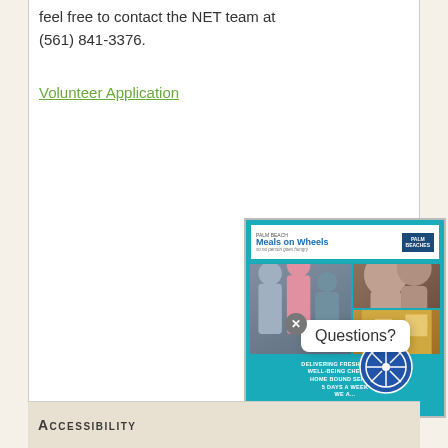feel free to contact the NET team at (561) 841-3376.
Volunteer Application
[Figure (infographic): Meals on Wheels Palm Beaches promotional advertisement showing logo, photos of seniors, and text about delivering fresh meals and well-being checks to home bound seniors 5 days a week with phone number (561) 802-6979]
Questions?
Accessibility